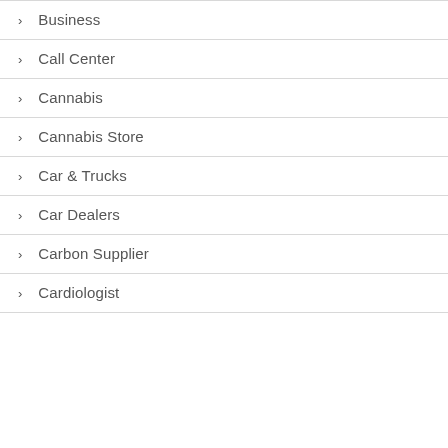Business
Call Center
Cannabis
Cannabis Store
Car & Trucks
Car Dealers
Carbon Supplier
Cardiologist